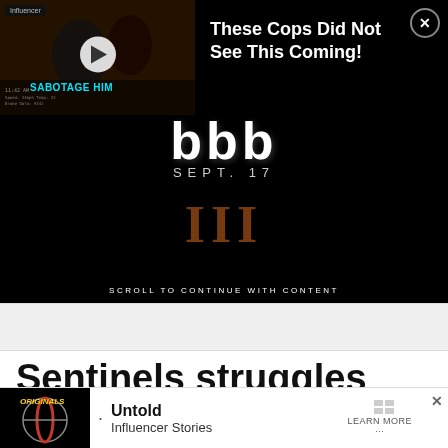[Figure (screenshot): Video ad thumbnail showing a man in a car with 'SABOTAGE HIM' text in cyan, police dashcam footage style. Labeled 'Influencer' tag in top-left. Play button overlay. Ad headline: 'These Cops Did Not See This Coming!' with close button (X) in top-right corner.]
[Figure (screenshot): Dark video player area showing bold stylized 'bbb' logo text in white with 'SEPT. 17' below, and large Roman numeral 'III' in brown/rust color lower in the frame. 'SCROLL TO CONTINUE WITH CONTENT' message in white on dark bar.]
[Figure (screenshot): Gray placeholder/ad loading bar below the main video area.]
Sentinels struggles in vc ...
[Figure (screenshot): Bottom ad banner with black logo area showing 'ORIGINALS' in yellow italic text, a dot separator, 'Untold' in bold with 'Influencer Stories' subtitle, and 'LEARN MORE' button. Close X button top right.]